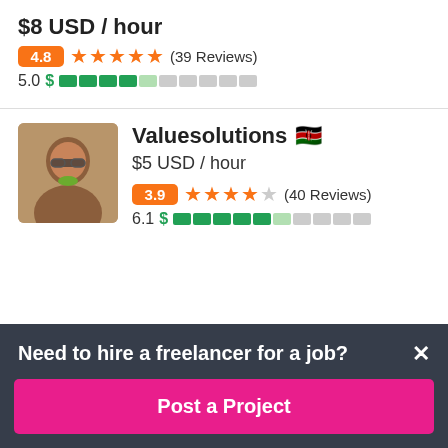$8 USD / hour
4.8 ★★★★★ (39 Reviews)
5.0 $ ████░░░░░░
[Figure (photo): Profile photo of freelancer Valuesolutions, a person wearing glasses]
Valuesolutions 🇰🇪
$5 USD / hour
3.9 ★★★★☆ (40 Reviews)
6.1 $ █████░░░░░
Need to hire a freelancer for a job?
Post a Project